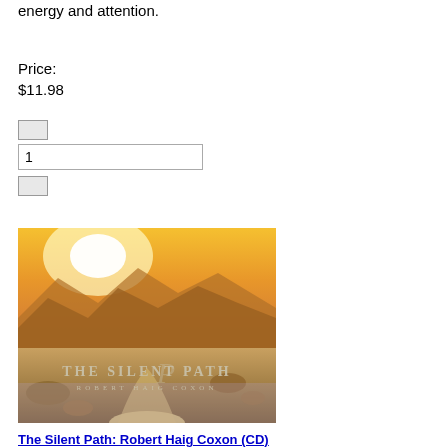energy and attention.
Price:
$11.98
[Figure (screenshot): Quantity selector with minus button, input field showing '1', and plus button]
[Figure (screenshot): Add to Cart button]
[Figure (photo): Album cover for 'The Silent Path' by Robert Haig Coxon showing a desert landscape with mountains at sunset in golden tones]
The Silent Path: Robert Haig Coxon (CD)